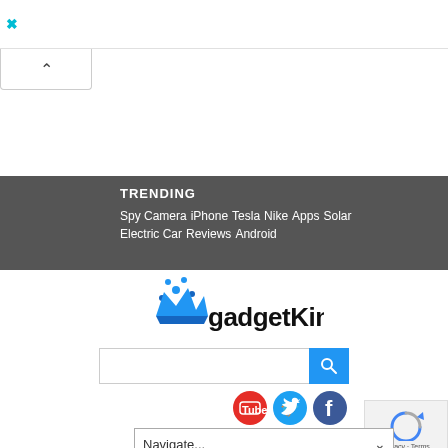× (close/dismiss ad button)
[Figure (screenshot): Collapse/expand chevron button tab]
TRENDING
Spy Camera  iPhone  Tesla  Nike  Apps  Solar
Electric Car  Reviews  Android
[Figure (logo): gadgetKing.com logo with blue crown icon]
[Figure (screenshot): Search input field with blue search button]
[Figure (infographic): YouTube, Twitter, Facebook social media icons]
[Figure (screenshot): reCAPTCHA badge with Privacy and Terms text]
Navigate...